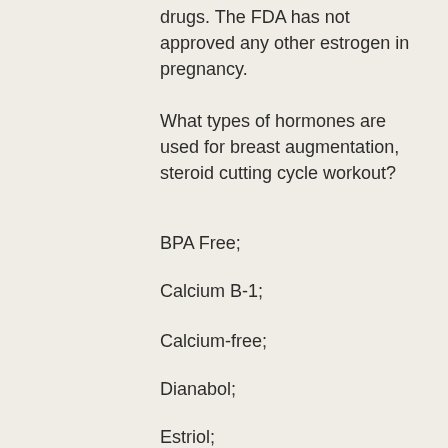drugs. The FDA has not approved any other estrogen in pregnancy.
What types of hormones are used for breast augmentation, steroid cutting cycle workout?
BPA Free;
Calcium B-1;
Calcium-free;
Dianabol;
Estriol;
Estronecgon;
Hormone Replacement Therapy;
Steroids;